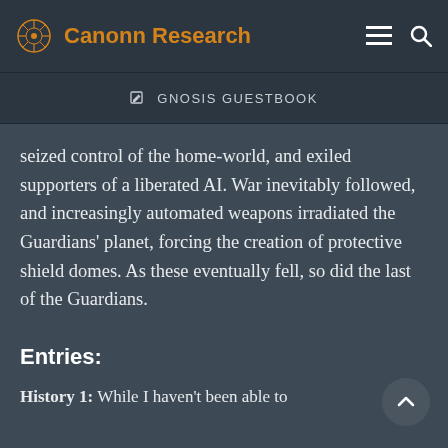Canonn Research
GNOSIS GUESTBOOK
seized control of the home-world, and exiled supporters of a liberated AI. War inevitably followed, and increasingly automated weapons irradiated the Guardians' planet, forcing the creation of protective shield domes. As these eventually fell, so did the last of the Guardians.
Entries:
History 1: While I haven't been able to